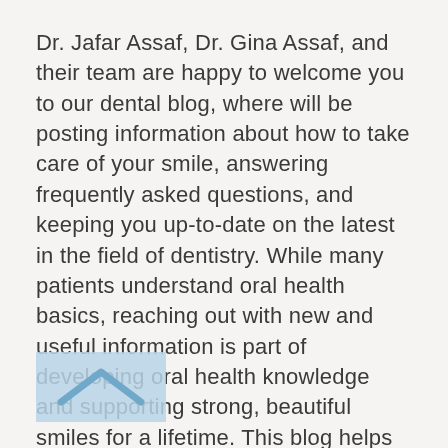Dr. Jafar Assaf, Dr. Gina Assaf, and their team are happy to welcome you to our dental blog, where will be posting information about how to take care of your smile, answering frequently asked questions, and keeping you up-to-date on the latest in the field of dentistry. While many patients understand oral health basics, reaching out with new and useful information is part of developing oral health knowledge and supporting strong, beautiful smiles for a lifetime. This blog helps our team meet this goal and better serve our valued patients.
Newport Beach Dental Center's blog will also be home to updates from our office and team, including information on community outreach events, continuing education, and new services